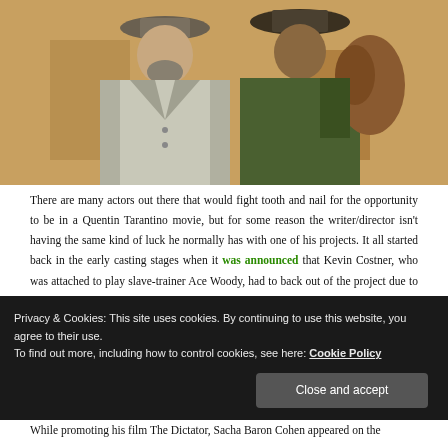[Figure (photo): Two men in western-style costumes. Left figure wears a gray cape coat and wide-brim hat. Right figure wears a green coat and wide-brim cowboy hat, carrying a saddle over his shoulder. Scene from Django Unchained.]
There are many actors out there that would fight tooth and nail for the opportunity to be in a Quentin Tarantino movie, but for some reason the writer/director isn't having the same kind of luck he normally has with one of his projects. It all started back in the early casting stages when it was announced that Kevin Costner, who was attached to play slave-trainer Ace Woody, had to back out of the project due to scheduling issues (he was later replaced by Kurt Russell, which fans saw as a more-than-adequate
Privacy & Cookies: This site uses cookies. By continuing to use this website, you agree to their use.
To find out more, including how to control cookies, see here: Cookie Policy
Close and accept
While promoting his film The Dictator, Sacha Baron Cohen appeared on the